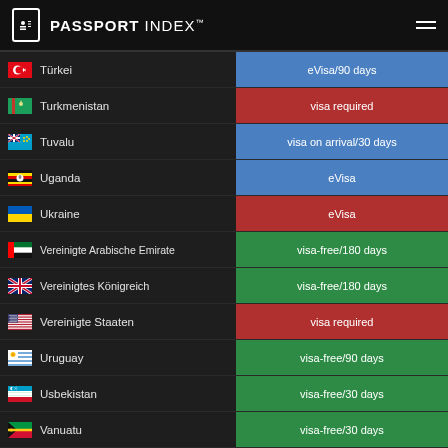PASSPORT INDEX
| Country | Visa Status |
| --- | --- |
| Türkei | eVisa/90 days |
| Turkmenistan | visa required |
| Tuvalu | visa on arrival/30 days |
| Uganda | eVisa |
| Ukraine | eVisa |
| Vereinigte Arabische Emirate | visa-free/180 days |
| Vereinigtes Königreich | visa-free/180 days |
| Vereinigte Staaten | visa required |
| Uruguay | visa-free/90 days |
| Usbekistan | visa-free/30 days |
| Vanuatu | visa-free/30 days |
BECOME A GLOBAL CITIZEN. EMPOWERED BY ARTON.